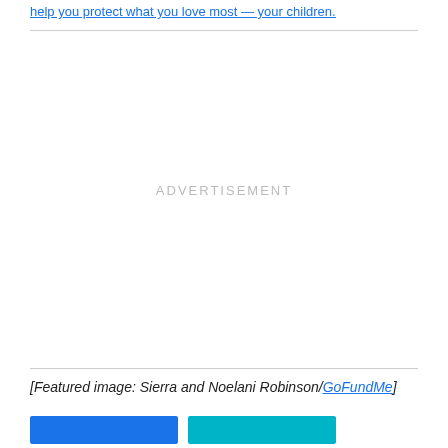help you protect what you love most — your children.
[Figure (other): Advertisement placeholder area with ADVERTISEMENT label centered]
[Featured image: Sierra and Noelani Robinson/GoFundMe]
[Figure (other): Two buttons at bottom: a blue button and a teal button]